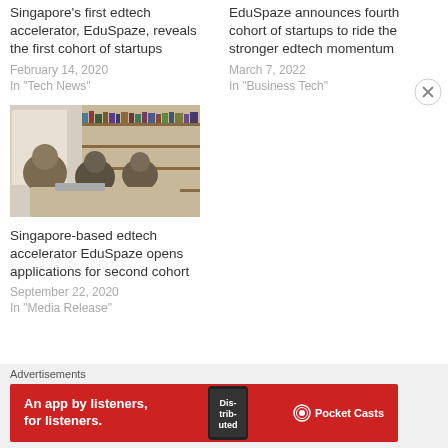Singapore's first edtech accelerator, EduSpaze, reveals the first cohort of startups
February 14, 2020
In "Tech News"
EduSpaze announces fourth cohort of startups to ride the stronger edtech momentum
March 7, 2022
In "Business Tech"
[Figure (photo): People working together around a table with books/library in background]
Singapore-based edtech accelerator EduSpaze opens applications for second cohort
September 22, 2020
In "Media Release"
Advertisements
[Figure (infographic): Pocket Casts advertisement banner: An app by listeners, for listeners.]